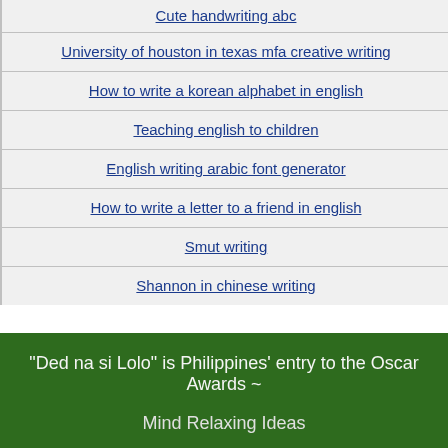Cute handwriting abc
University of houston in texas mfa creative writing
How to write a korean alphabet in english
Teaching english to children
English writing arabic font generator
How to write a letter to a friend in english
Smut writing
Shannon in chinese writing
How to improve education sector in
"Ded na si Lolo" is Philippines' entry to the Oscar Awards ~
Mind Relaxing Ideas